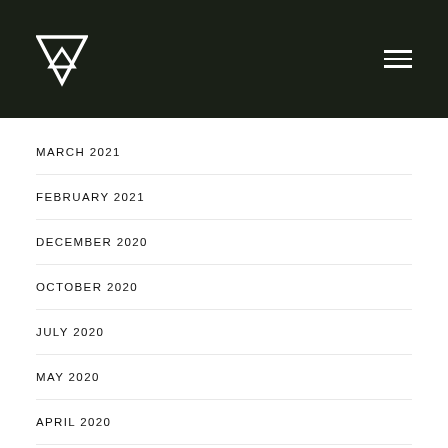Navigation header with logo and menu icon
MARCH 2021
FEBRUARY 2021
DECEMBER 2020
OCTOBER 2020
JULY 2020
MAY 2020
APRIL 2020
FEBRUARY 2020
NOVEMBER 2019